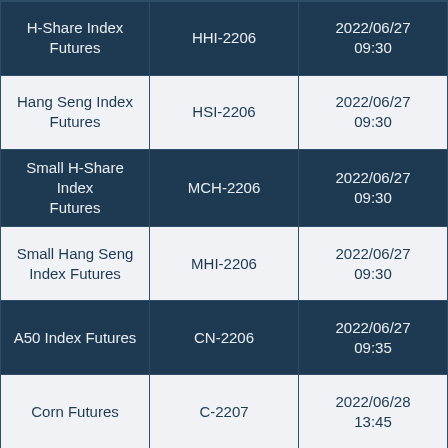| H-Share Index Futures | HHI-2206 | 2022/06/27 09:30 |
| Hang Seng Index Futures | HSI-2206 | 2022/06/27 09:30 |
| Small H-Share Index Futures | MCH-2206 | 2022/06/27 09:30 |
| Small Hang Seng Index Futures | MHI-2206 | 2022/06/27 09:30 |
| A50 Index Futures | CN-2206 | 2022/06/27 09:35 |
| Corn Futures | C-2207 | 2022/06/28 13:45 |
| Soybean Futures (partial) | S-2207 (partial) | 2022/06/28 (partial) |